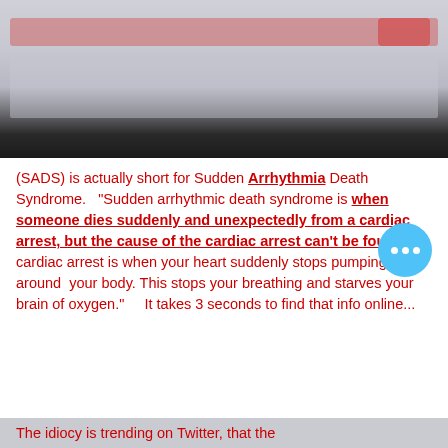[Figure (screenshot): Blurred/redacted screenshot of a social media post or webpage with a red highlighted bar and dark bottom strip]
(SADS) is actually short for Sudden Arrhythmia Death Syndrome.  "Sudden arrhythmic death syndrome is when someone dies suddenly and unexpectedly from a cardiac arrest, but the cause of the cardiac arrest can't be found.  A cardiac arrest is when your heart suddenly stops pumping blood around  your body. This stops your breathing and starves your brain of oxygen."     It takes 3 seconds to find that info online...
The idiocy is trending on Twitter, that the